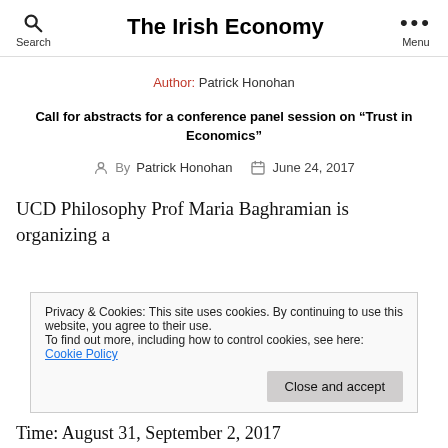The Irish Economy
Author: Patrick Honohan
Call for abstracts for a conference panel session on “Trust in Economics”
By Patrick Honohan   June 24, 2017
UCD Philosophy Prof Maria Baghramian is organizing a conference “Trust, Expert Opinion and Policy” at the...
Privacy & Cookies: This site uses cookies. By continuing to use this website, you agree to their use.
To find out more, including how to control cookies, see here: Cookie Policy
Time: August 31, September 2, 2017